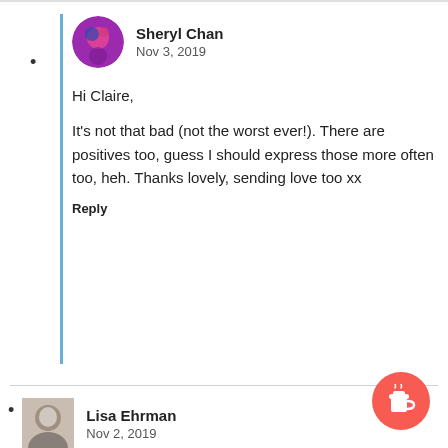Sheryl Chan
Nov 3, 2019

Hi Claire,

It's not that bad (not the worst ever!). There are positives too, guess I should express those more often too, heh. Thanks lovely, sending love too xx

Reply
Lisa Ehrman
Nov 2, 2019

The podcasts sound very good, and I'm glad that you enjoyed the first one. That's something I'm not interested in, but I bet you'll be amazing. I hope that the next year brings you better health